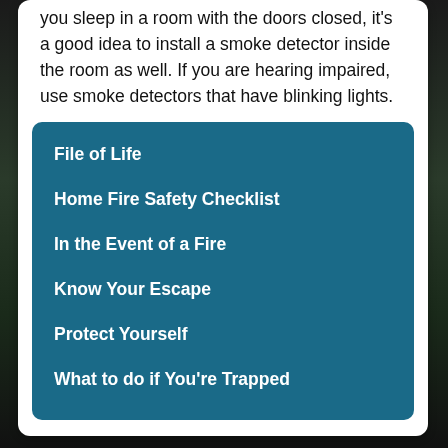you sleep in a room with the doors closed, it's a good idea to install a smoke detector inside the room as well. If you are hearing impaired, use smoke detectors that have blinking lights.
File of Life
Home Fire Safety Checklist
In the Event of a Fire
Know Your Escape
Protect Yourself
What to do if You're Trapped